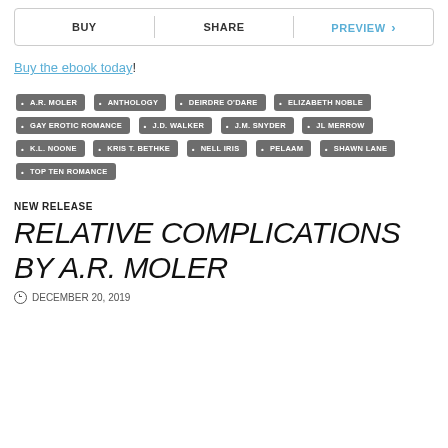[Figure (other): Navigation bar with BUY, SHARE, and PREVIEW (in blue with arrow) buttons separated by vertical dividers]
Buy the ebook today!
Tags: A.R. MOLER, ANTHOLOGY, DEIRDRE O'DARE, ELIZABETH NOBLE, GAY EROTIC ROMANCE, J.D. WALKER, J.M. SNYDER, JL MERROW, K.L. NOONE, KRIS T. BETHKE, NELL IRIS, PELAAM, SHAWN LANE, TOP TEN ROMANCE
NEW RELEASE
RELATIVE COMPLICATIONS BY A.R. MOLER
DECEMBER 20, 2019